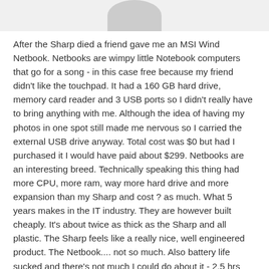[Figure (photo): Partial image of an object visible at the top of the page, cropped.]
After the Sharp died a friend gave me an MSI Wind Netbook. Netbooks are wimpy little Notebook computers that go for a song - in this case free because my friend didn't like the touchpad. It had a 160 GB hard drive, memory card reader and 3 USB ports so I didn't really have to bring anything with me. Although the idea of having my photos in one spot still made me nervous so I carried the external USB drive anyway. Total cost was $0 but had I purchased it I would have paid about $299. Netbooks are an interesting breed. Technically speaking this thing had more CPU, more ram, way more hard drive and more expansion than my Sharp and cost ? as much. What 5 years makes in the IT industry. They are however built cheaply. It's about twice as thick as the Sharp and all plastic. The Sharp feels like a really nice, well engineered product. The Netbook.... not so much. Also battery life sucked and there's not much I could do about it - 2.5 hrs tops. An added note is that the MSI screen was 10.1 inches. The Sharp screen was 10.4 inches but if you compare them side to side you'd think something is a